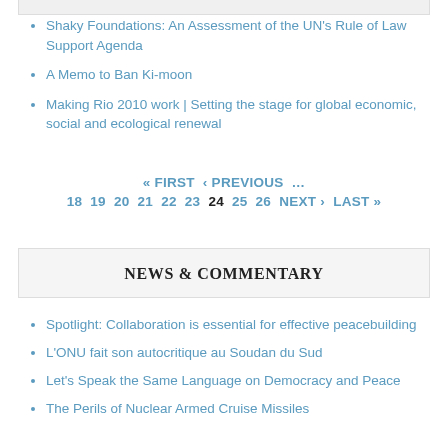Shaky Foundations: An Assessment of the UN's Rule of Law Support Agenda
A Memo to Ban Ki-moon
Making Rio 2010 work | Setting the stage for global economic, social and ecological renewal
« FIRST  ‹ PREVIOUS  …  18  19  20  21  22  23  24  25  26  NEXT ›  LAST »
NEWS & COMMENTARY
Spotlight: Collaboration is essential for effective peacebuilding
L'ONU fait son autocritique au Soudan du Sud
Let's Speak the Same Language on Democracy and Peace
The Perils of Nuclear Armed Cruise Missiles